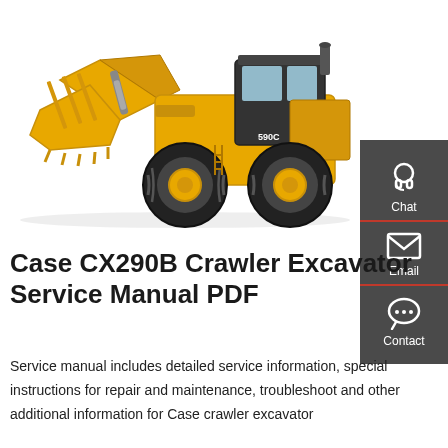[Figure (photo): Yellow wheel loader / crawler excavator (Case) on white background, side view showing large bucket at front and cab at rear]
[Figure (infographic): Dark grey sidebar with three contact options: Chat (headset icon), Email (envelope icon), Contact (speech bubble with dots icon), each separated by a red underline]
Case CX290B Crawler Excavator Service Manual PDF
Service manual includes detailed service information, special instructions for repair and maintenance, troubleshoot and other additional information for Case crawler excavator